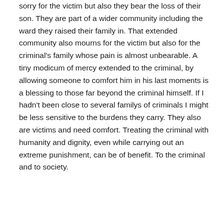sorry for the victim but also they bear the loss of their son. They are part of a wider community including the ward they raised their family in. That extended community also mourns for the victim but also for the criminal's family whose pain is almost unbearable. A tiny modicum of mercy extended to the criminal, by allowing someone to comfort him in his last moments is a blessing to those far beyond the criminal himself. If I hadn't been close to several familys of criminals I might be less sensitive to the burdens they carry. They also are victims and need comfort. Treating the criminal with humanity and dignity, even while carrying out an extreme punishment, can be of benefit. To the criminal and to society.